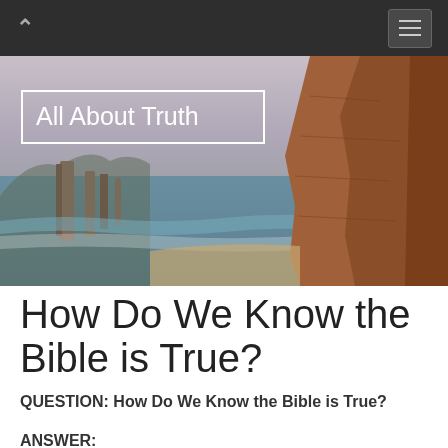All About Truth
[Figure (photo): Coastal cliff landscape with rock stacks rising from the ocean, orange-brown cliffs on the right, blue-grey water, cloudy sky.]
How Do We Know the Bible is True?
QUESTION: How Do We Know the Bible is True?
ANSWER: